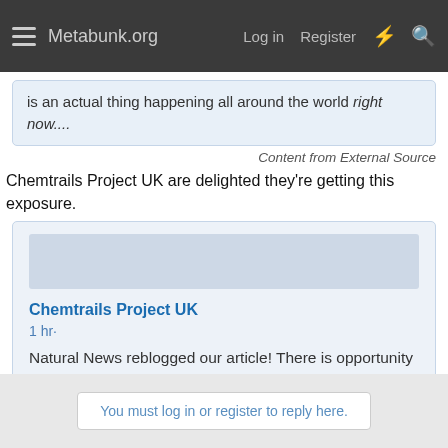Metabunk.org  Log in  Register
is an actual thing happening all around the world right now....
Content from External Source
Chemtrails Project UK are delighted they're getting this exposure.
Chemtrails Project UK
1 hr·
Natural News reblogged our article! There is opportunity to reach many in 2016, let's make this the year that counts.
Content from External Source
2
You must log in or register to reply here.